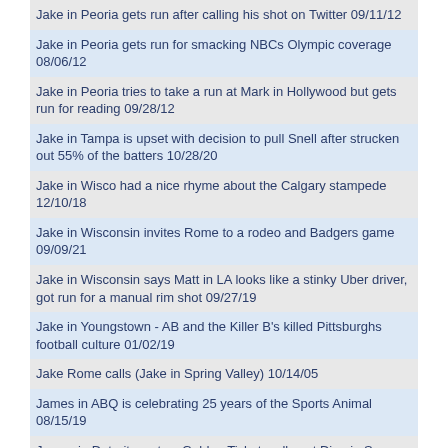Jake in Peoria gets run after calling his shot on Twitter 09/11/12
Jake in Peoria gets run for smacking NBCs Olympic coverage 08/06/12
Jake in Peoria tries to take a run at Mark in Hollywood but gets run for reading 09/28/12
Jake in Tampa is upset with decision to pull Snell after strucken out 55% of the batters 10/28/20
Jake in Wisco had a nice rhyme about the Calgary stampede 12/10/18
Jake in Wisconsin invites Rome to a rodeo and Badgers game 09/09/21
Jake in Wisconsin says Matt in LA looks like a stinky Uber driver, got run for a manual rim shot 09/27/19
Jake in Youngstown - AB and the Killer B's killed Pittsburghs football culture 01/02/19
Jake Rome calls (Jake in Spring Valley) 10/14/05
James in ABQ is celebrating 25 years of the Sports Animal 08/15/19
James in Detroit wants a Golden Ticket, calls out Dino in San Antonio, bad phone connection, gets run 06/09/20
James in Hattiesburg on Boxing and the SEC 11/02/11
James in Houston calls while Kyle Brandt is guest hosting 02/20/12
James in North Carolina says the Michigan Ohio State rivalry is overrated 11/20/18
James in Portland calls to avoid the choppa 06/22/22
James in Portland calls with a straight sports take, wants Coach Lanning on the show 04/08/23